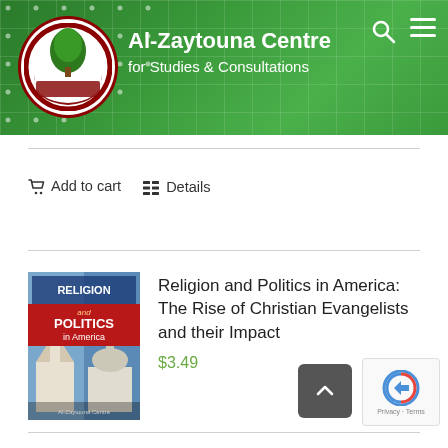[Figure (logo): Al-Zaytouna Centre for Studies & Consultations website header with green gradient background, grid pattern, circular logo with tree, organization name in white text, search and menu icons]
Add to cart   Details
[Figure (illustration): Book cover: Religion and Politics in America book cover with blue and red design showing church and capitol building]
Religion and Politics in America: The Rise of Christian Evangelists and their Impact
$3.49